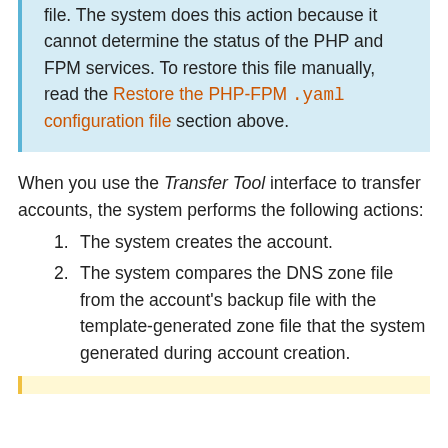file. The system does this action because it cannot determine the status of the PHP and FPM services. To restore this file manually, read the Restore the PHP-FPM .yaml configuration file section above.
When you use the Transfer Tool interface to transfer accounts, the system performs the following actions:
1. The system creates the account.
2. The system compares the DNS zone file from the account's backup file with the template-generated zone file that the system generated during account creation.